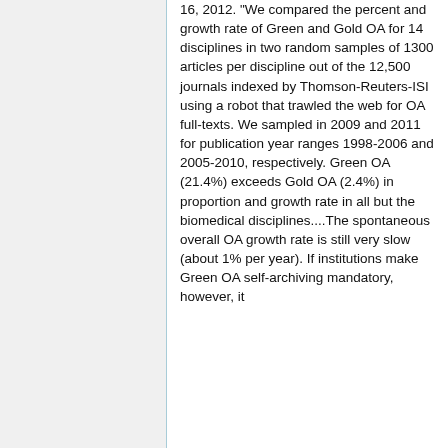16, 2012. "We compared the percent and growth rate of Green and Gold OA for 14 disciplines in two random samples of 1300 articles per discipline out of the 12,500 journals indexed by Thomson-Reuters-ISI using a robot that trawled the web for OA full-texts. We sampled in 2009 and 2011 for publication year ranges 1998-2006 and 2005-2010, respectively. Green OA (21.4%) exceeds Gold OA (2.4%) in proportion and growth rate in all but the biomedical disciplines....The spontaneous overall OA growth rate is still very slow (about 1% per year). If institutions make Green OA self-archiving mandatory, however, it